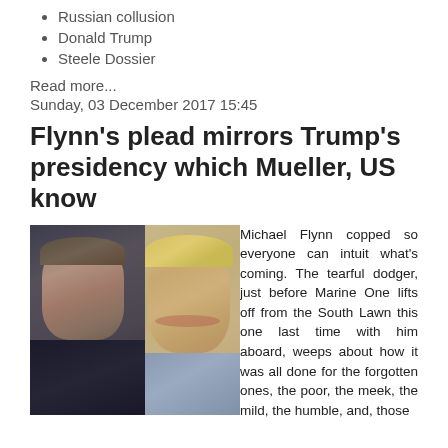Russian collusion
Donald Trump
Steele Dossier
Read more...
Sunday, 03 December 2017 15:45
Flynn's plead mirrors Trump's presidency which Mueller, US know
[Figure (photo): Composite photo showing Michael Flynn on the left and Donald Trump on the right, with US dollar bills scattered in the background.]
Michael Flynn copped so everyone can intuit what's coming. The tearful dodger, just before Marine One lifts off from the South Lawn this one last time with him aboard, weeps about how it was all done for the forgotten ones, the poor, the meek, the mild, the humble, and, those